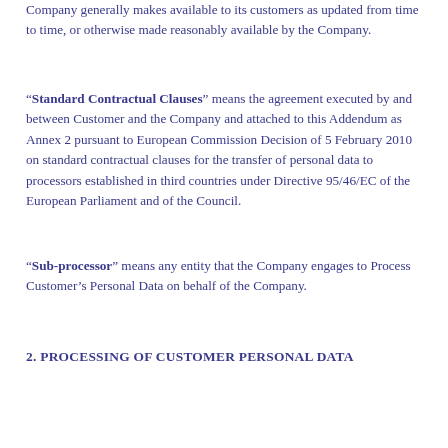Company generally makes available to its customers as updated from time to time, or otherwise made reasonably available by the Company.
“Standard Contractual Clauses” means the agreement executed by and between Customer and the Company and attached to this Addendum as Annex 2 pursuant to European Commission Decision of 5 February 2010 on standard contractual clauses for the transfer of personal data to processors established in third countries under Directive 95/46/EC of the European Parliament and of the Council.
“Sub-processor” means any entity that the Company engages to Process Customer’s Personal Data on behalf of the Company.
2. PROCESSING OF CUSTOMER PERSONAL DATA